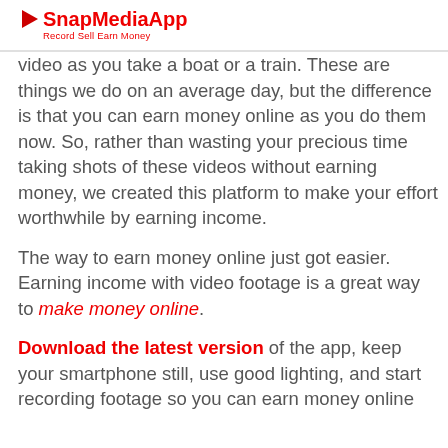SnapMediaApp — Record Sell Earn Money
video as you take a boat or a train. These are things we do on an average day, but the difference is that you can earn money online as you do them now. So, rather than wasting your precious time taking shots of these videos without earning money, we created this platform to make your effort worthwhile by earning income.
The way to earn money online just got easier. Earning income with video footage is a great way to make money online.
Download the latest version of the app, keep your smartphone still, use good lighting, and start recording footage so you can earn money online